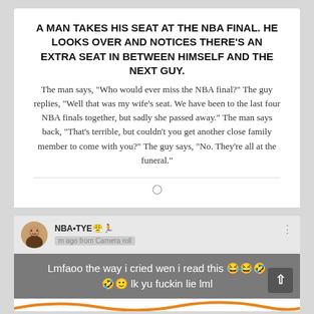A MAN TAKES HIS SEAT AT THE NBA FINAL. HE LOOKS OVER AND NOTICES THERE'S AN EXTRA SEAT IN BETWEEN HIMSELF AND THE NEXT GUY.
The man says, "Who would ever miss the NBA final?" The guy replies, "Well that was my wife's seat. We have been to the last four NBA finals together, but sadly she passed away." The man says back, "That's terrible, but couldn't you get another close family member to come with you?" The guy says, "No. They're all at the funeral."
[Figure (screenshot): Social media comment from user NBA•TYE with emoji, saying 'Lmfaoo the way i cried wen i read this [laughing emojis] lk yu fuckin lie lml' with avatar and dark grey background comment bubble]